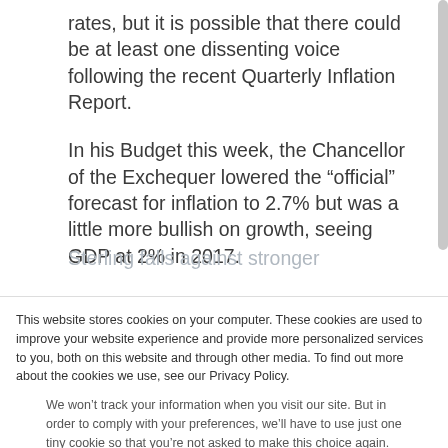rates, but it is possible that there could be at least one dissenting voice following the recent Quarterly Inflation Report.
In his Budget this week, the Chancellor of the Exchequer lowered the “official” forecast for inflation to 2.7% but was a little more bullish on growth, seeing GDP at 2% in 2017.
Sterling falls against stronger
This website stores cookies on your computer. These cookies are used to improve your website experience and provide more personalized services to you, both on this website and through other media. To find out more about the cookies we use, see our Privacy Policy.
We won’t track your information when you visit our site. But in order to comply with your preferences, we’ll have to use just one tiny cookie so that you’re not asked to make this choice again.